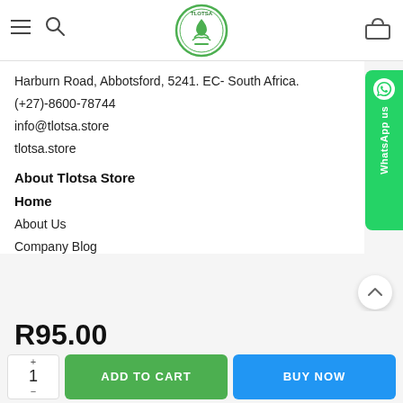[Figure (logo): Tlotsa store circular logo with green droplet and hands motif]
Harburn Road, Abbotsford, 5241. EC- South Africa.
(+27)-8600-78744
info@tlotsa.store
tlotsa.store
About Tlotsa Store
Home
About Us
Company Blog
R95.00
ADD TO CART
BUY NOW